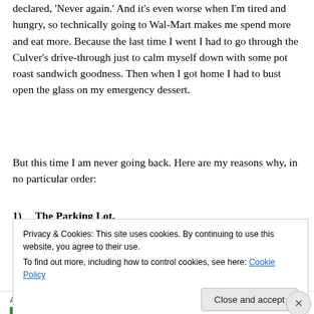declared, 'Never again.' And it's even worse when I'm tired and hungry, so technically going to Wal-Mart makes me spend more and eat more. Because the last time I went I had to go through the Culver's drive-through just to calm myself down with some pot roast sandwich goodness. Then when I got home I had to bust open the glass on my emergency dessert.
But this time I am never going back. Here are my reasons why, in no particular order:
1)   The Parking Lot.
Privacy & Cookies: This site uses cookies. By continuing to use this website, you agree to their use.
To find out more, including how to control cookies, see here: Cookie Policy
Close and accept
Advertisements